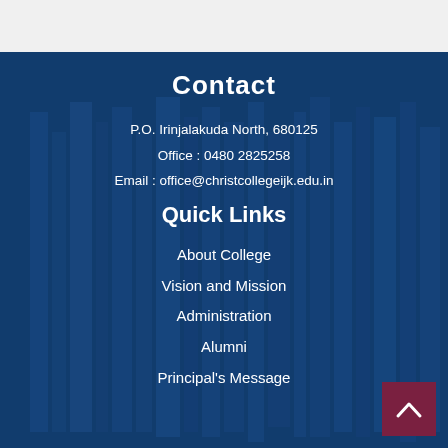Contact
P.O. Irinjalakuda North, 680125
Office : 0480 2825258
Email : office@christcollegeijk.edu.in
Quick Links
About College
Vision and Mission
Administration
Alumni
Principal's Message